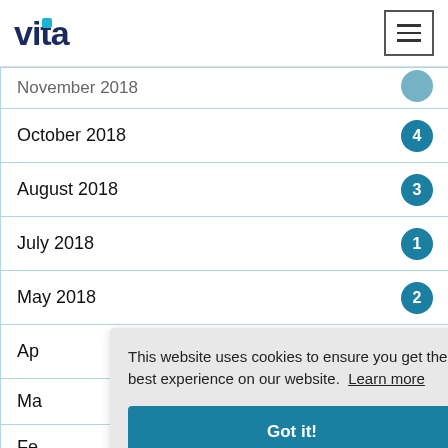vita
| Month | Count |
| --- | --- |
| November 2018 |  |
| October 2018 | 4 |
| August 2018 | 3 |
| July 2018 | 1 |
| May 2018 | 2 |
| April (partial) |  |
| March (partial) |  |
| February (partial) |  |
| January (partial) |  |
This website uses cookies to ensure you get the best experience on our website. Learn more
Got it!